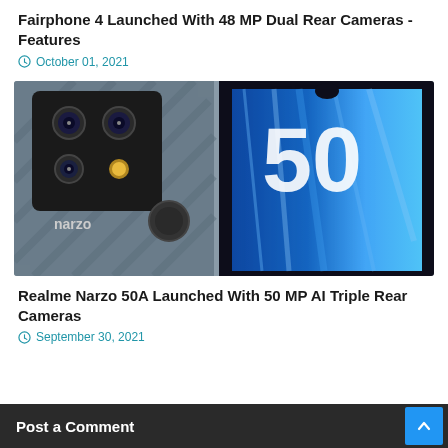Fairphone 4 Launched With 48 MP Dual Rear Cameras - Features
October 01, 2021
[Figure (photo): Realme Narzo 50A smartphone shown from the back (camera module with narzo branding) and front (screen showing '50' logo with blue wave pattern)]
Realme Narzo 50A Launched With 50 MP AI Triple Rear Cameras
September 30, 2021
Post a Comment